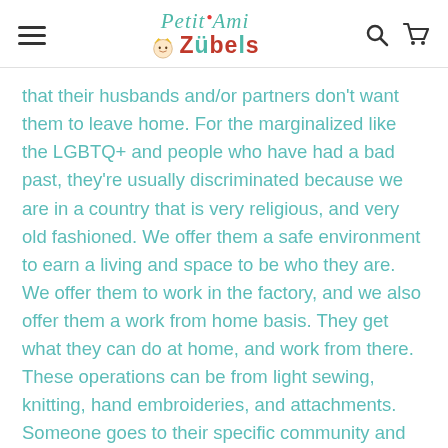Petit Ami Zubels — navigation header with logo, hamburger menu, search and cart icons
that their husbands and/or partners don't want them to leave home. For the marginalized like the LGBTQ+ and people who have had a bad past, they're usually discriminated because we are in a country that is very religious, and very old fashioned. We offer them a safe environment to earn a living and space to be who they are. We offer them to work in the factory, and we also offer them a work from home basis. They get what they can do at home, and work from there. These operations can be from light sewing, knitting, hand embroideries, and attachments. Someone goes to their specific community and ask people if they are